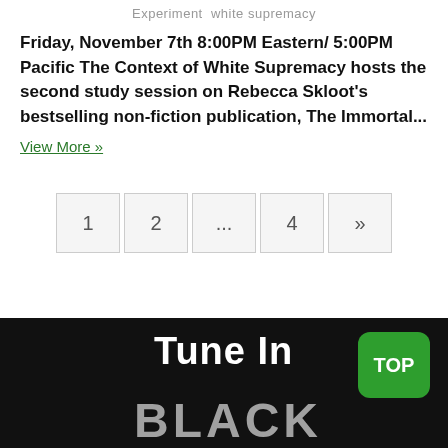Experiment  white supremacy
Friday, November 7th 8:00PM Eastern/ 5:00PM Pacific The Context of White Supremacy hosts the second study session on Rebecca Skloot's bestselling non-fiction publication, The Immortal...
View More »
1  2  ...  4  »
[Figure (screenshot): Black background banner with 'Tune In' in white bold text and 'BLACK' in large gray metallic letters at the bottom. A green rounded rectangle button with 'TOP' in white is in the upper right corner.]